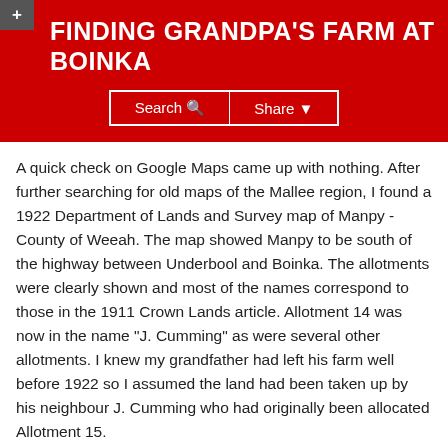FINDING GRANDPA'S FARM AT BOINKA
A quick check on Google Maps came up with nothing. After further searching for old maps of the Mallee region, I found a 1922 Department of Lands and Survey map of Manpy - County of Weeah. The map showed Manpy to be south of the highway between Underbool and Boinka. The allotments were clearly shown and most of the names correspond to those in the 1911 Crown Lands article. Allotment 14 was now in the name "J. Cumming" as were several other allotments. I knew my grandfather had left his farm well before 1922 so I assumed the land had been taken up by his neighbour J. Cumming who had originally been allocated Allotment 15.
Going back onto Google Maps I soon found the Manpy area showing Linga as its centre. On satellite view the fences of the allotments are clearly shown and are exactly as they were on the 1922 survey map. Boinka is the